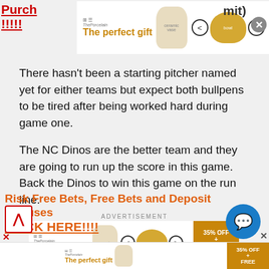[Figure (screenshot): Top advertisement banner: 'The perfect gift' with ceramic bowl imagery, navigation arrows, and '35% OFF + FREE SHIPPING' gold badge. Partially visible red underlined text on left ('Purch...', '!!!!!') and dark text on right ('...mit)') with close X button.]
There hasn't been a starting pitcher named yet for either teams but expect both bullpens to be tired after being worked hard during game one.
The NC Dinos are the better team and they are going to run up the score in this game. Back the Dinos to win this game on the run line.
ADVERTISEMENT
[Figure (screenshot): Middle advertisement banner: 'The perfect gift' with ceramic bowl imagery, navigation arrows, and '35% OFF + FREE SHIPPING' gold badge.]
Risk Free Bets, Free Bets and Deposit Bonuses CLICK HERE!!!!
[Figure (screenshot): Bottom advertisement banner strip: 'The perfect gift' with 35% OFF + FREE SHIPPING badge, partially visible.]